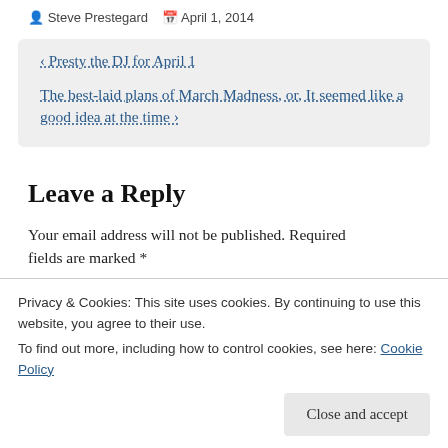Steve Prestegard   April 1, 2014
< Presty the DJ for April 1
The best-laid plans of March Madness, or, It seemed like a good idea at the time >
Leave a Reply
Your email address will not be published. Required fields are marked *
Privacy & Cookies: This site uses cookies. By continuing to use this website, you agree to their use.
To find out more, including how to control cookies, see here: Cookie Policy